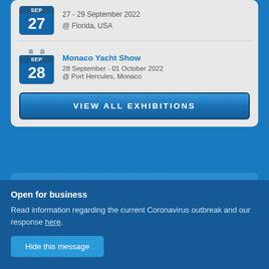27 - 29 September 2022 @ Florida, USA
Monaco Yacht Show
28 September - 01 October 2022
@ Port Hercules, Monaco
VIEW ALL EXHIBITIONS
LATEST NEWS
Open for business
Read information regarding the current Coronavirus outbreak and our response here.
Hide this message